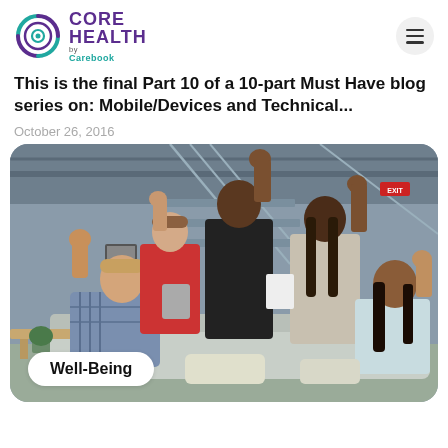Core Health by Carebook
This is the final Part 10 of a 10-part Must Have blog series on: Mobile/Devices and Technical...
October 26, 2016
[Figure (photo): Group of five smiling people celebrating with fists raised in a modern office with stairs and industrial ceiling. One man in foreground in plaid shirt, a woman in red behind him, a tall man in black polo in center, a woman in sleeveless grey top, and a woman with long dark hair seated in foreground right.]
Well-Being